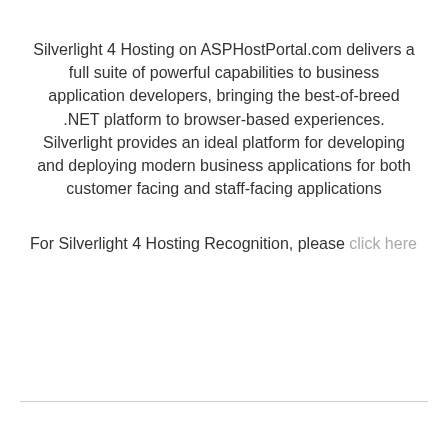Silverlight 4 Hosting on ASPHostPortal.com delivers a full suite of powerful capabilities to business application developers, bringing the best-of-breed .NET platform to browser-based experiences. Silverlight provides an ideal platform for developing and deploying modern business applications for both customer facing and staff-facing applications
For Silverlight 4 Hosting Recognition, please click here